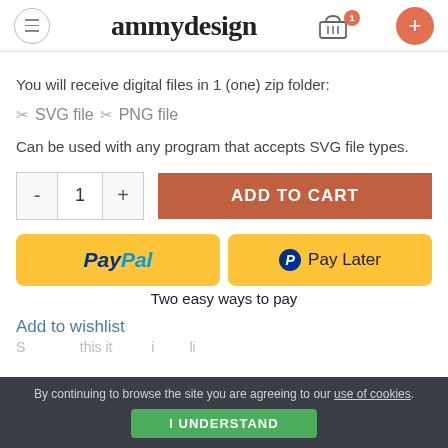ammydesign
You will receive digital files in 1 (one) zip folder:
✂ SVG file ✂ PNG file
Can be used with any program that accepts SVG file types.
ADD TO CART (quantity 1)
[Figure (other): PayPal and Pay Later payment buttons]
Two easy ways to pay
Add to wishlist
By continuing to browse the site you are agreeing to our use of cookies. I UNDERSTAND